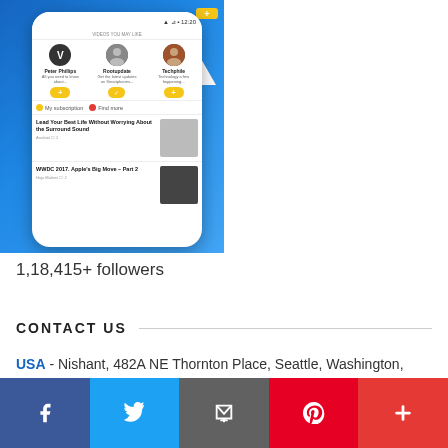[Figure (screenshot): Mobile app screenshot showing a content subscription app with user avatars (Peter Phillips, Rootupdate, Techphile), follow buttons, news articles including 'Lead Your Best Life Without Worrying About the Surround Sound' and 'WWDC 2017. Apple's Big Move – Part 2', on a blue gradient background with a white arrow pointing down]
1,18,415+ followers
CONTACT US
USA - Nishant, 482A NE Thornton Place, Seattle, Washington, USA, ZIP Code- 98125
[Figure (infographic): Social sharing footer bar with icons for Facebook, Twitter, Email, Pinterest, and More (+)]